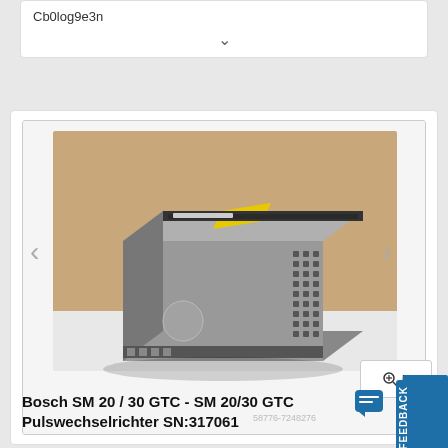Cb0log9e3n
[Figure (photo): Photo of a Bosch SM 20/30 GTC Pulswechselrichter (pulse inverter) industrial electronics module, metallic grey casing with ventilation holes and a yellow label on top, shown at an angle on a white surface. Watermark: 58776-7248276]
58776-7248276
5
Bosch SM 20 / 30 GTC - SM 20/30 GTC Pulswechselrichter SN:317061